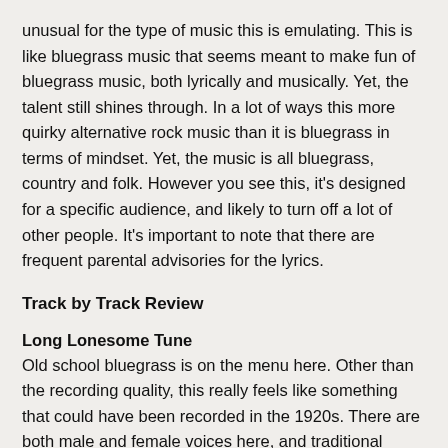unusual for the type of music this is emulating. This is like bluegrass music that seems meant to make fun of bluegrass music, both lyrically and musically. Yet, the talent still shines through. In a lot of ways this more quirky alternative rock music than it is bluegrass in terms of mindset. Yet, the music is all bluegrass, country and folk. However you see this, it's designed for a specific audience, and likely to turn off a lot of other people. It's important to note that there are frequent parental advisories for the lyrics.
Track by Track Review
Long Lonesome Tune
Old school bluegrass is on the menu here. Other than the recording quality, this really feels like something that could have been recorded in the 1920s. There are both male and female voices here, and traditional bluegrass instrumentation